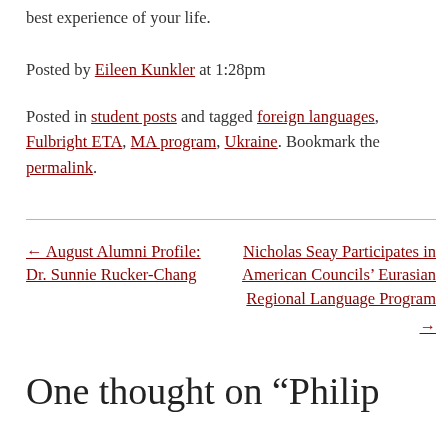best experience of your life.
Posted by Eileen Kunkler at 1:28pm
Posted in student posts and tagged foreign languages, Fulbright ETA, MA program, Ukraine. Bookmark the permalink.
← August Alumni Profile: Dr. Sunnie Rucker-Chang
Nicholas Seay Participates in American Councils' Eurasian Regional Language Program →
One thought on “Philip